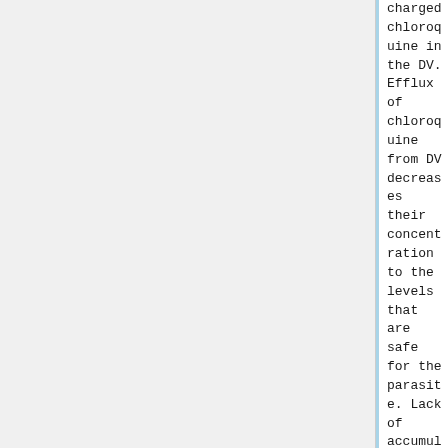charged chloroquine in the DV. Efflux of chloroquine from DV decreases their concentration to the levels that are safe for the parasite. Lack of accumulation therefore leads to no destruction of the plasma